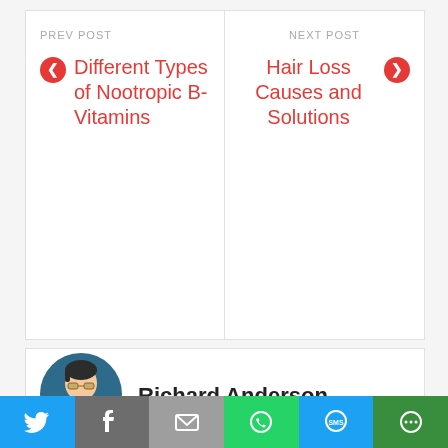PREV POST
Different Types of Nootropic B-Vitamins
NEXT POST
Hair Loss Causes and Solutions
[Figure (illustration): Avatar illustration of Richard Anderson, a male figure with glasses on a dark blue circular background]
Richard Anderson
[Figure (infographic): Social sharing bar with Twitter, Facebook, Email, WhatsApp, SMS, and More buttons]